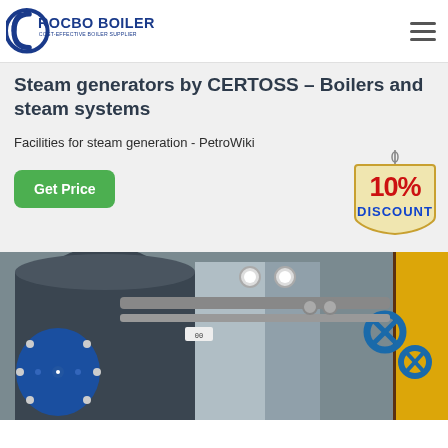[Figure (logo): Rocbo Boiler logo with tagline 'Cost-Effective Boiler Supplier']
Steam generators by CERTOSS – Boilers and steam systems
Facilities for steam generation - PetroWiki
[Figure (illustration): 10% Discount badge sign hanging from a hook]
Get Price
[Figure (photo): Industrial boilers and steam systems photo showing large cylindrical blue boilers and silver piping with valves]